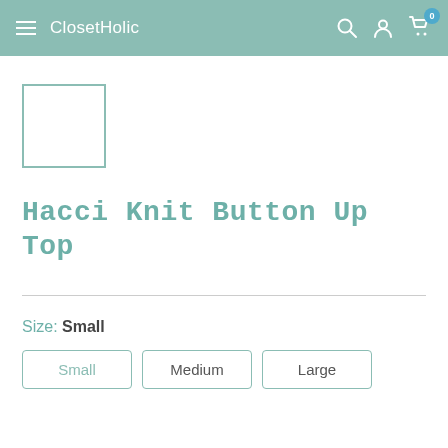ClosetHolic
[Figure (other): Small thumbnail image placeholder box with teal border]
Hacci Knit Button Up Top
Size: Small
Small  Medium  Large